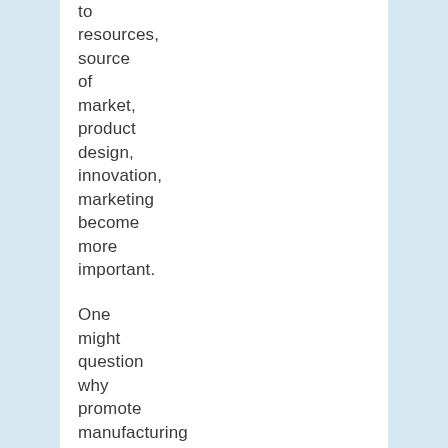to resources, source of market, product design, innovation, marketing become more important.
One might question why promote manufacturing if it will not